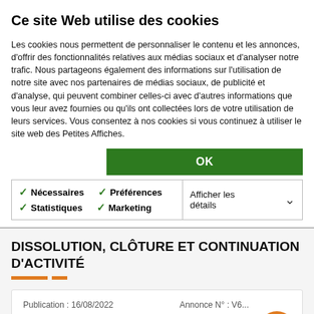Ce site Web utilise des cookies
Les cookies nous permettent de personnaliser le contenu et les annonces, d'offrir des fonctionnalités relatives aux médias sociaux et d'analyser notre trafic. Nous partageons également des informations sur l'utilisation de notre site avec nos partenaires de médias sociaux, de publicité et d'analyse, qui peuvent combiner celles-ci avec d'autres informations que vous leur avez fournies ou qu'ils ont collectées lors de votre utilisation de leurs services. Vous consentez à nos cookies si vous continuez à utiliser le site web des Petites Affiches.
OK
✓ Nécessaires  ✓ Préférences  ✓ Statistiques  ✓ Marketing  Afficher les détails
DISSOLUTION, CLÔTURE ET CONTINUATION D'ACTIVITÉ
Publication : 16/08/2022
Annonce N° : V6...
DYNAMIC FINANCE
CLOTURE DE LIQUIDATION
CLÔTURE DE LIQUIDATION EN DATE DU 21 MARS 2021